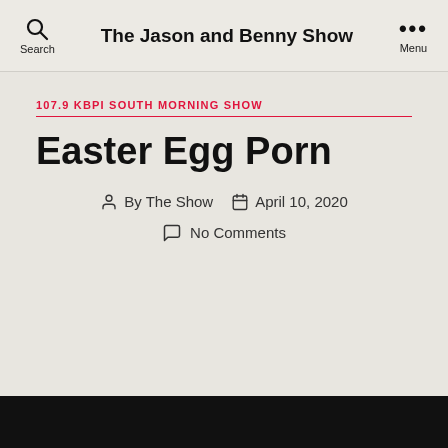The Jason and Benny Show
Tag: colorado
107.9 KBPI SOUTH MORNING SHOW
Easter Egg Porn
By The Show  April 10, 2020  No Comments